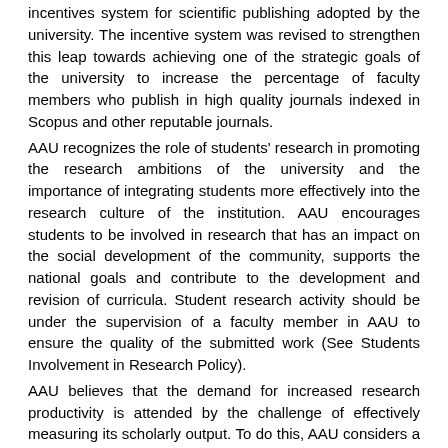incentives system for scientific publishing adopted by the university. The incentive system was revised to strengthen this leap towards achieving one of the strategic goals of the university to increase the percentage of faculty members who publish in high quality journals indexed in Scopus and other reputable journals.
AAU recognizes the role of students' research in promoting the research ambitions of the university and the importance of integrating students more effectively into the research culture of the institution. AAU encourages students to be involved in research that has an impact on the social development of the community, supports the national goals and contribute to the development and revision of curricula. Student research activity should be under the supervision of a faculty member in AAU to ensure the quality of the submitted work (See Students Involvement in Research Policy).
AAU believes that the demand for increased research productivity is attended by the challenge of effectively measuring its scholarly output. To do this, AAU considers a variety of factors in several different ways since measurements of progress and success must change as institutions develop. AAU considers many factors to measure its research productivity such as: